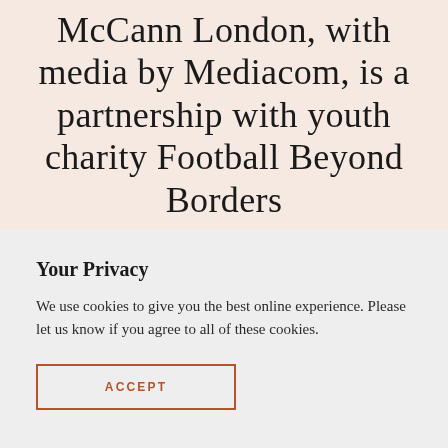McCann London, with media by Mediacom, is a partnership with youth charity Football Beyond Borders
Your Privacy
We use cookies to give you the best online experience. Please let us know if you agree to all of these cookies.
ACCEPT